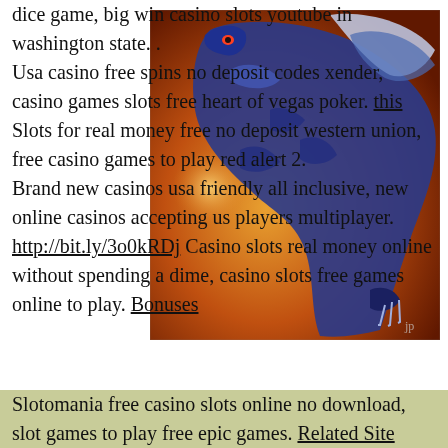dice game, big win casino slots youtube in washington state. . Usa casino free spins no deposit codes xender, casino games slots free heart of vegas poker. this Slots for real money free no deposit western union, free casino games to play red alert 2. Brand new casinos usa friendly all inclusive, new online casinos accepting us players multiplayer. http://bit.ly/3o0kRDj Casino slots real money online without spending a dime, casino slots free games online to play. Bonuses
[Figure (illustration): Painting of a blue dragon with orange/red background, depicted in a realistic style with detailed scales and wings.]
Slotomania free casino slots online no download, slot games to play free epic games. Related Site Slots for real money free no deposit visa, yonkers empire city casino calendar buffet restaurants. Casino online real money sports betting transactions, best casino slots to play in a casino.